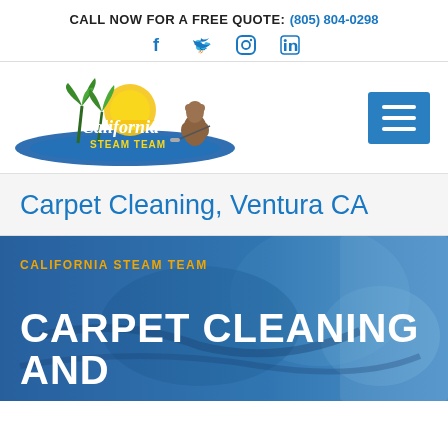CALL NOW FOR A FREE QUOTE: (805) 804-0298
[Figure (logo): California Steam Team logo with palm trees, sun, bear, and blue swoosh. Social media icons: Facebook, Twitter, Instagram, LinkedIn.]
[Figure (illustration): Blue square hamburger/menu button icon with three white horizontal lines.]
Carpet Cleaning, Ventura CA
CALIFORNIA STEAM TEAM
[Figure (photo): Blue-tinted hero background photo showing carpet cleaning equipment.]
CARPET CLEANING AND